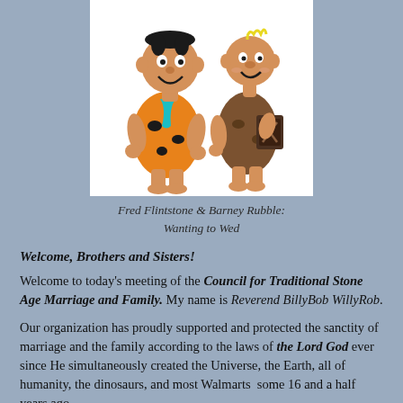[Figure (illustration): Cartoon illustration of Fred Flintstone and Barney Rubble standing together on a white background. Fred is on the left wearing an orange spotted tunic with a teal tie, and Barney is on the right wearing a brown spotted tunic and holding a book.]
Fred Flintstone & Barney Rubble: Wanting to Wed
Welcome, Brothers and Sisters!
Welcome to today's meeting of the Council for Traditional Stone Age Marriage and Family. My name is Reverend BillyBob WillyRob.
Our organization has proudly supported and protected the sanctity of marriage and the family according to the laws of the Lord God ever since He simultaneously created the Universe, the Earth, all of humanity, the dinosaurs, and most Walmarts  some 16 and a half years ago.